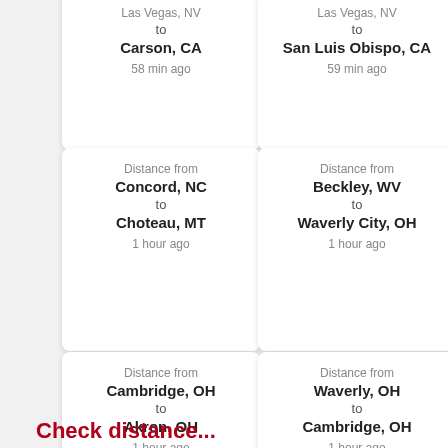Distance from Las Vegas, NV to Carson, CA
58 min ago
Distance from Las Vegas, NV to San Luis Obispo, CA
59 min ago
Distance from Concord, NC to Choteau, MT
1 hour ago
Distance from Beckley, WV to Waverly City, OH
1 hour ago
Distance from Cambridge, OH to Akron, OH
1 hour ago
Distance from Waverly, OH to Cambridge, OH
1 hour ago
Check distance...